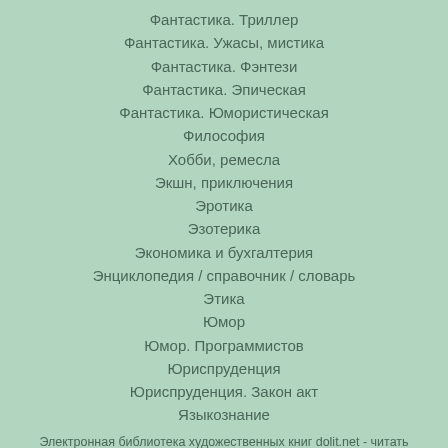Фантастика. Триллер
Фантастика. Ужасы, мистика
Фантастика. Фэнтези
Фантастика. Эпическая
Фантастика. Юмористическая
Философия
Хобби, ремесла
Экшн, приключения
Эротика
Эзотерика
Экономика и бухгалтерия
Энциклопедия / справочник / словарь
Этика
Юмор
Юмор. Программистов
Юриспруденция
Юриспруденция. Закон акт
Языкознание
Электронная библиотека художественных книг dolit.net - читать онлайн и скачать книги бесплатно
Copyright © 2012